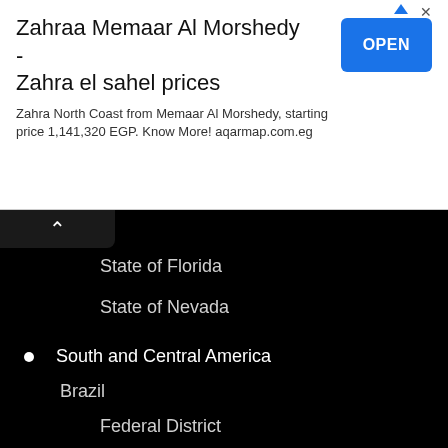[Figure (screenshot): Advertisement banner for Zahraa Memaar Al Morshedy - Zahra el sahel prices with OPEN button]
State of Florida
State of Nevada
South and Central America
Brazil
Federal District
State of Acre
State of Alagoas